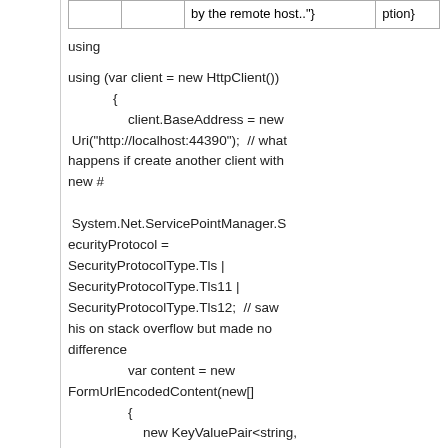|  |  | by the remote host.."} | ption} |
using
using (var client = new HttpClient())
            {
                client.BaseAddress = new Uri("http://localhost:44390");  // what happens if create another client with new #

 System.Net.ServicePointManager.SecurityProtocol = SecurityProtocolType.Tls | SecurityProtocolType.Tls11 | SecurityProtocolType.Tls12;  // saw his on stack overflow but made no difference
                var content = new FormUrlEncodedContent(new[]
                {
                    new KeyValuePair<string, string>("bigString", "abcd- I am a big